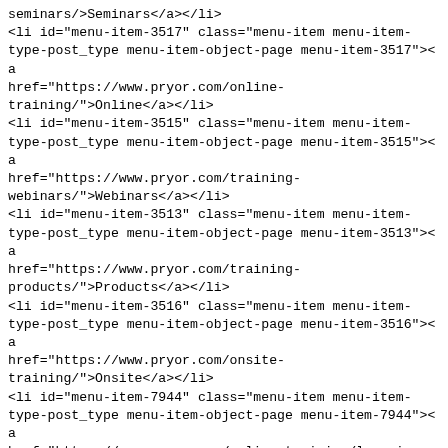seminars/">Seminars</a></li>
<li id="menu-item-3517" class="menu-item menu-item-type-post_type menu-item-object-page menu-item-3517"><a href="https://www.pryor.com/online-training/">Online</a></li>
<li id="menu-item-3515" class="menu-item menu-item-type-post_type menu-item-object-page menu-item-3515"><a href="https://www.pryor.com/training-webinars/">Webinars</a></li>
<li id="menu-item-3513" class="menu-item menu-item-type-post_type menu-item-object-page menu-item-3513"><a href="https://www.pryor.com/training-products/">Products</a></li>
<li id="menu-item-3516" class="menu-item menu-item-type-post_type menu-item-object-page menu-item-3516"><a href="https://www.pryor.com/onsite-training/">Onsite</a></li>
<li id="menu-item-7944" class="menu-item menu-item-type-post_type menu-item-object-page menu-item-7944"><a href="https://www.pryor.com/online-training/learning-paths/">Learning Paths</a></li>
</ul></div>                <br>
               <h5 class="white">About Us</h5>
<div class="menu-footer-5-menu-container"><ul id="menu-footer-5-menu" class="menu"><li id="menu-item-3498" class="menu-item menu-item-type-post_type menu-item-object-page menu-item-3498"><a href="https://www.pryor.com/about-us/">About Us</a>
</li>
<li id="menu-item-3499" class="menu-item menu-item-